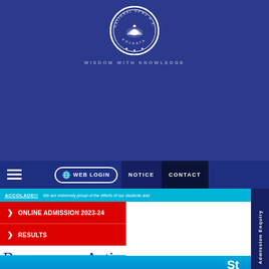[Figure (logo): National Gems H.S. School Kolkata circular logo with dove/hands emblem]
WISDOM WITH KNOWLEDGE
WEB LOGIN
NOTICE
CONTACT
ACCOLADE!!
We are extremely proud of the efforts of our students and
ONLINE ADMISSION 2023-24
RESULTS
Admission Enquiry
St
Because our Actions are